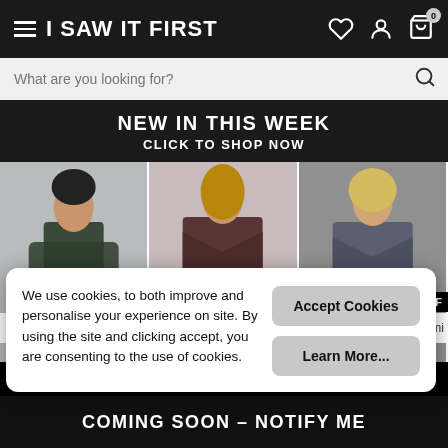I SAW IT FIRST
What are you looking for?
NEW IN THIS WEEK
CLICK TO SHOP NOW
[Figure (photo): Three female models wearing fashion outfits: dark green long jacket with black leather shorts and grey boots; dark brown cropped blazer with matching trousers; grey cropped blazer with matching mini skirt]
We use cookies, to both improve and personalise your experience on site. By using the site and clicking accept, you are consenting to the use of cookies.
Accept Cookies
Learn More...
0% OFF
00 $84
Promi
COMING SOON – NOTIFY ME